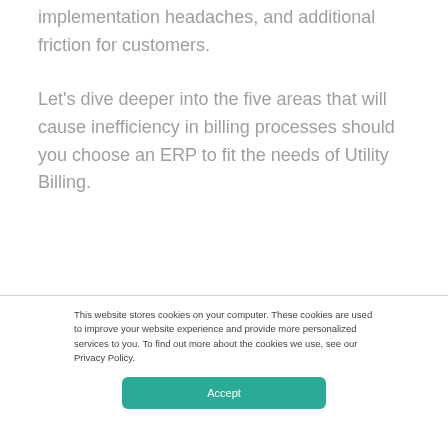implementation headaches, and additional friction for customers.
Let's dive deeper into the five areas that will cause inefficiency in billing processes should you choose an ERP to fit the needs of Utility Billing.
This website stores cookies on your computer. These cookies are used to improve your website experience and provide more personalized services to you. To find out more about the cookies we use, see our Privacy Policy.
Accept